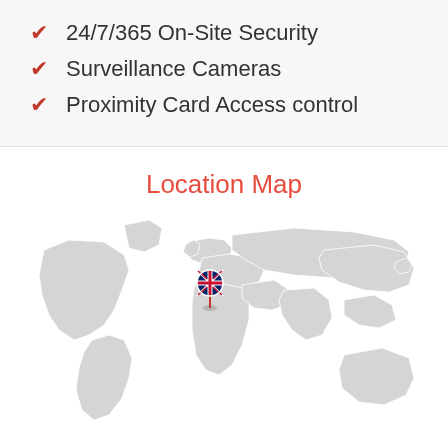24/7/365 On-Site Security
Surveillance Cameras
Proximity Card Access control
Location Map
[Figure (map): World map with UK flag marker pin indicating location in United Kingdom]